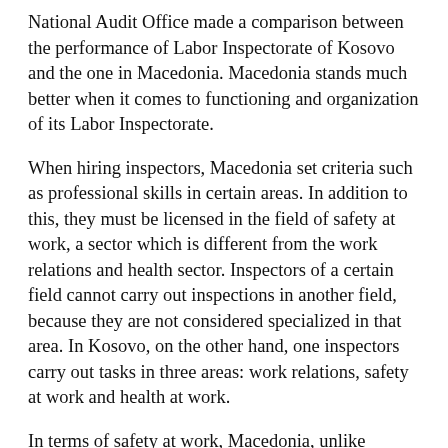National Audit Office made a comparison between the performance of Labor Inspectorate of Kosovo and the one in Macedonia. Macedonia stands much better when it comes to functioning and organization of its Labor Inspectorate.
When hiring inspectors, Macedonia set criteria such as professional skills in certain areas. In addition to this, they must be licensed in the field of safety at work, a sector which is different from the work relations and health sector. Inspectors of a certain field cannot carry out inspections in another field, because they are not considered specialized in that area. In Kosovo, on the other hand, one inspectors carry out tasks in three areas: work relations, safety at work and health at work.
In terms of safety at work, Macedonia, unlike Kosovo, has inspectors that are specialized in this area. Out of a total of 99 inspectors, 33 are specialized only in safety at work, and have different professional backgrounds. In Kosovo, on the...